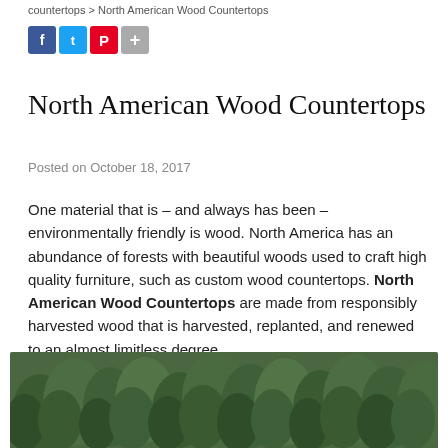countertops > North American Wood Countertops
[Figure (infographic): Social sharing icons: Facebook (blue), Twitter (light blue), Pinterest (red), More (gray plus)]
North American Wood Countertops
Posted on October 18, 2017
One material that is – and always has been – environmentally friendly is wood. North America has an abundance of forests with beautiful woods used to craft high quality furniture, such as custom wood countertops. North American Wood Countertops are made from responsibly harvested wood that is harvested, replanted, and renewed to an almost limitless degree.
[Figure (photo): Aerial view of a dense green forest with trees viewed from above]